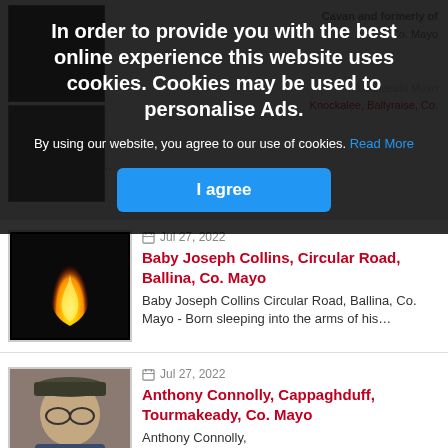Cavan and formerly of Co. Mayo
Knockalee, Ballyraise, Co. Muckersaune. The…
[Figure (photo): Background blurred obituary listing page showing partial entries]
In order to provide you with the best online experience this website uses cookies. Cookies may be used to personalise Ads.
By using our website, you agree to our use of cookies. Read More
I agree
Jul 27, 2022
Baby Joseph Collins, Circular Road, Ballina, Co. Mayo
Baby Joseph Collins Circular Road, Ballina, Co. Mayo - Born sleeping into the arms of his…
[Figure (photo): Black background with a single orange and yellow flame candle]
Jul 27, 2022
Anthony Connolly, Cappaghduff, Tourmakeady, Co. Mayo
Anthony Connolly,
[Figure (photo): Elderly man wearing a dark flat cap and glasses, looking at camera]